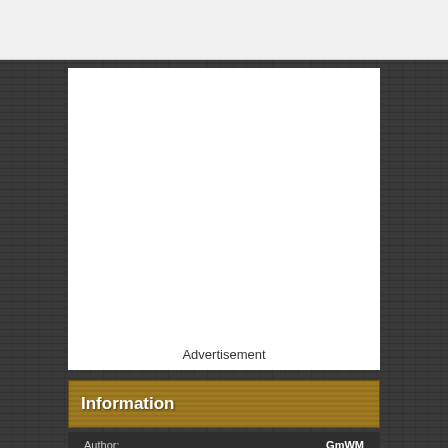[Figure (other): Top navigation/header bar area, light gray background]
[Figure (other): White advertisement box on dark textured background with 'Advertisement' label at bottom center]
Information
|  |  |
| --- | --- |
| Author: | GmWM |
| Total Downloads: | 57,989 |
| First Release: | Aug 4, 2015 |